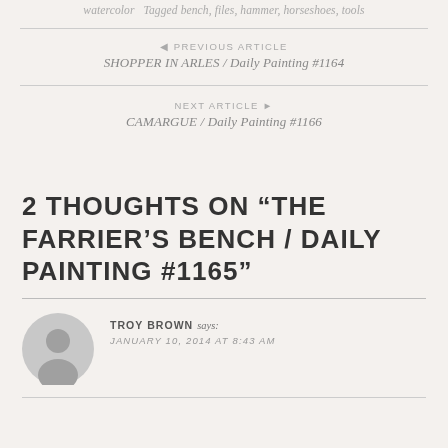watercolor   Tagged bench, files, hammer, horseshoes, tools
◄ PREVIOUS ARTICLE
SHOPPER IN ARLES / Daily Painting #1164
NEXT ARTICLE ►
CAMARGUE / Daily Painting #1166
2 THOUGHTS ON "THE FARRIER'S BENCH / DAILY PAINTING #1165"
TROY BROWN says:
JANUARY 10, 2014 AT 8:43 AM